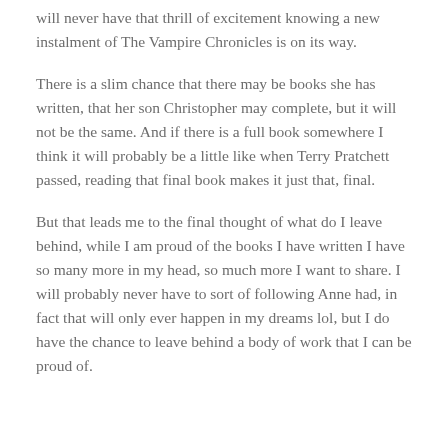will never have that thrill of excitement knowing a new instalment of The Vampire Chronicles is on its way.
There is a slim chance that there may be books she has written, that her son Christopher may complete, but it will not be the same. And if there is a full book somewhere I think it will probably be a little like when Terry Pratchett passed, reading that final book makes it just that, final.
But that leads me to the final thought of what do I leave behind, while I am proud of the books I have written I have so many more in my head, so much more I want to share. I will probably never have to sort of following Anne had, in fact that will only ever happen in my dreams lol, but I do have the chance to leave behind a body of work that I can be proud of.